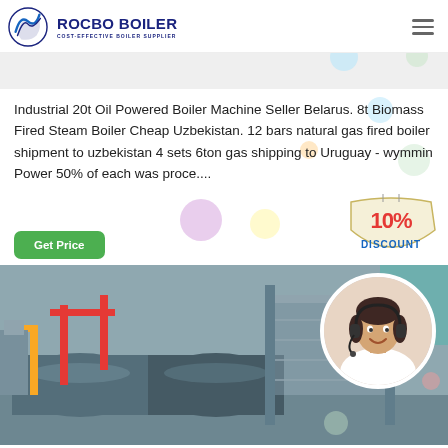[Figure (logo): Rocbo Boiler logo with circular flame icon and text 'ROCBO BOILER - COST-EFFECTIVE BOILER SUPPLIER' in dark blue]
[Figure (infographic): Decorative colorful bubbles/circles on light grey background section]
Industrial 20t Oil Powered Boiler Machine Seller Belarus. 8t Biomass Fired Steam Boiler Cheap Uzbekistan. 12 bars natural gas fired boiler shipment to uzbekistan 4 sets 6ton gas shipping to Uruguay - wymmin Power 50% of each was proce....
[Figure (infographic): 10% DISCOUNT badge/sign graphic in red and blue text on a hanging tag shape]
[Figure (photo): Industrial boiler room with large tanks, pipes in red and yellow, metal grating and stairs, grey and teal painted walls]
[Figure (photo): Customer service representative woman with headset smiling, circular crop overlaid on boiler room image]